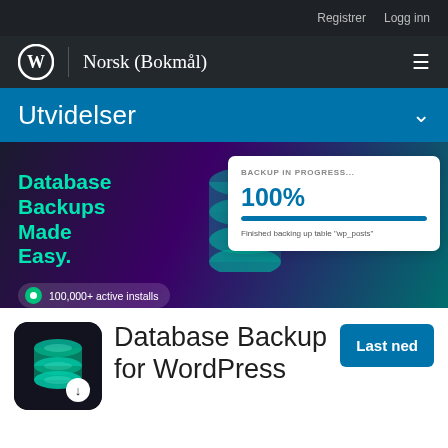Registrer  Logg inn
Norsk (Bokmål)
Utvidelser
[Figure (screenshot): Database Backup plugin promotional banner showing 'Database Backups Made Easy.' in teal text, a 3D database icon, backup progress card showing 100% with progress bar, and '100,000+ active installs' badge.]
[Figure (illustration): Database Backup for WordPress plugin icon — dark background with teal/green glowing stacked cylinders and a download arrow badge.]
Database Backup for WordPress
Last ned